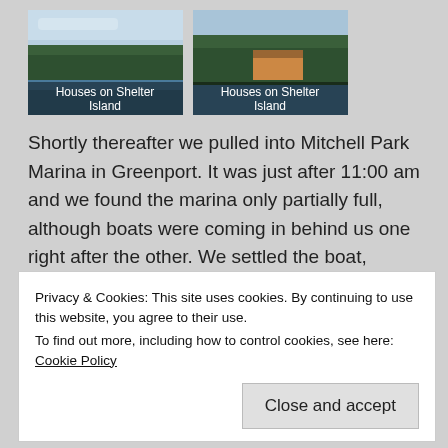[Figure (photo): Thumbnail photo of Houses on Shelter Island - aerial/waterfront view with trees and water]
Houses on Shelter Island
[Figure (photo): Thumbnail photo of Houses on Shelter Island - aerial view showing house among trees]
Houses on Shelter Island
Shortly thereafter we pulled into Mitchell Park Marina in Greenport. It was just after 11:00 am and we found the marina only partially full, although boats were coming in behind us one right after the other. We settled the boat, checked in at the marina office and then went back to the boat to do a few chores, and to watch the show.
Privacy & Cookies: This site uses cookies. By continuing to use this website, you agree to their use.
To find out more, including how to control cookies, see here: Cookie Policy